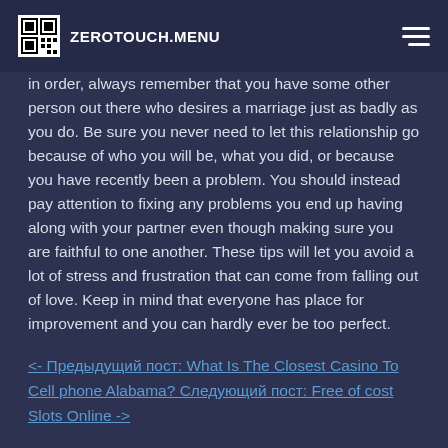ZEROTOUCH.MENU
in order, always remember that you have some other person out there who desires a marriage just as badly as you do. Be sure you never need to let this relationship go because of who you will be, what you did, or because you have recently been a problem. You should instead pay attention to fixing any problems you end up having along with your partner even though making sure you are faithful to one another. These tips will let you avoid a lot of stress and frustration that can come from falling out of love. Keep in mind that everyone has place for improvement and you can hardly ever be too perfect.
<- Предыдущий пост: What Is The Closest Casino To Cell phone Alabama? Следующий пост: Free of cost Slots Online ->